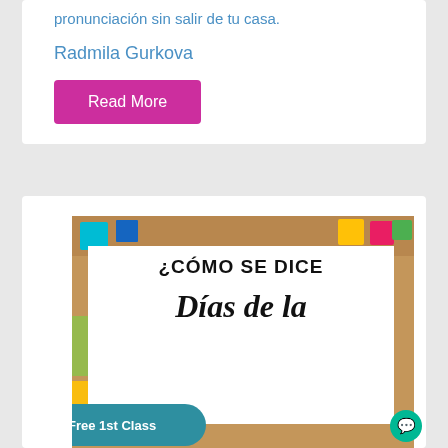pronunciación sin salir de tu casa.
Radmila Gurkova
Read More
[Figure (illustration): Educational image showing a white card overlay on a desk with colorful sticky notes and school supplies. The card reads '¿CÓMO SE DICE Días de la semana' in bold and italic typography. A teal 'Free 1st Class' button with a calendar icon is overlaid at the bottom left.]